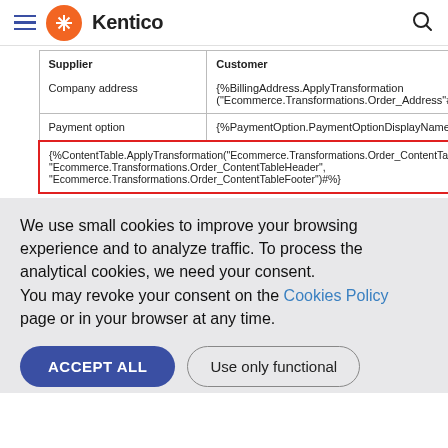Kentico
| Supplier

Company address | Customer

{%BillingAddress.ApplyTransformation("Ecommerce.Transformations.Order_Address"#%} |
| Payment option | {%PaymentOption.PaymentOptionDisplayName#%} |
| {%ContentTable.ApplyTransformation("Ecommerce.Transformations.Order_ContentTable", "Ecommerce.Transformations.Order_ContentTableHeader", "Ecommerce.Transformations.Order_ContentTableFooter")#%} |  |
We use small cookies to improve your browsing experience and to analyze traffic. To process the analytical cookies, we need your consent.
You may revoke your consent on the Cookies Policy page or in your browser at any time.
ACCEPT ALL | Use only functional